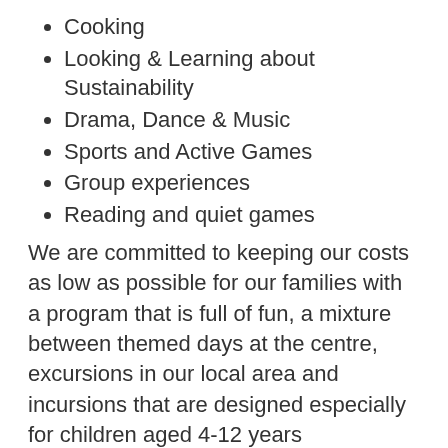Cooking
Looking & Learning about Sustainability
Drama, Dance & Music
Sports and Active Games
Group experiences
Reading and quiet games
We are committed to keeping our costs as low as possible for our families with a program that is full of fun, a mixture between themed days at the centre, excursions in our local area and incursions that are designed especially for children aged 4-12 years
Some of the reasons why you should choose Kids Club for your child’s next school holidays:
Well priced activities that fit the family budget
We are open between 7.30-6pm, Monday-Friday
Professional, dedicated and friendly staff
An engaging environment that is encouraging and supportive
A wide variety of experiences including: themed